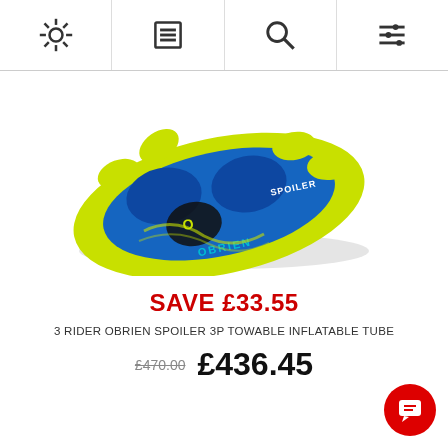Navigation bar with settings, menu, search, and filter icons
[Figure (photo): Blue and yellow O'Brien Spoiler 3P towable inflatable tube for 3 riders, viewed from above at an angle. The tube features yellow handles and blue seat areas with O'Brien branding.]
SAVE £33.55
3 RIDER OBRIEN SPOILER 3P TOWABLE INFLATABLE TUBE
£470.00  £436.45